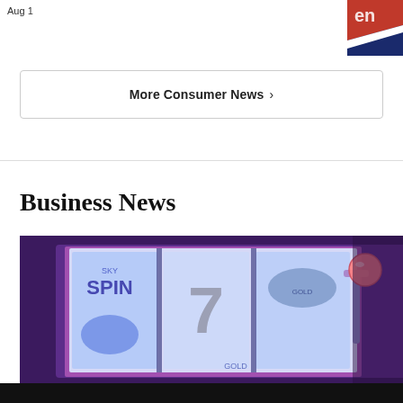Aug 1
[Figure (photo): Partial view of a product package with red, white and blue branding (possibly energy drink or similar)]
More Consumer News ›
Business News
[Figure (photo): Close-up of a slot machine screen showing a '7' and 'SPIN' on illuminated reels with a pink/red handle visible on the right side, bathed in purple and pink neon light]